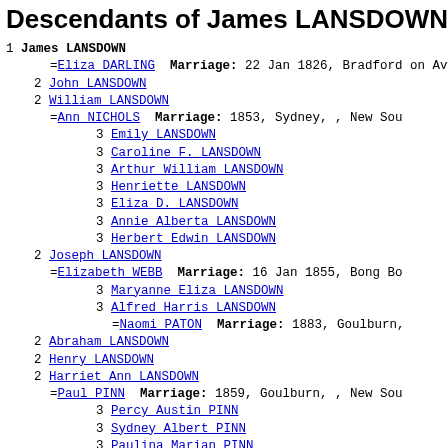Descendants of James LANSDOWN
1 James LANSDOWN
=Eliza DARLING  Marriage: 22 Jan 1826, Bradford on Avon
  2 John LANSDOWN
  2 William LANSDOWN
    =Ann NICHOLS  Marriage: 1853, Sydney, , New Sou
      3 Emily LANSDOWN
      3 Caroline F. LANSDOWN
      3 Arthur William LANSDOWN
      3 Henriette LANSDOWN
      3 Eliza D. LANSDOWN
      3 Annie Alberta LANSDOWN
      3 Herbert Edwin LANSDOWN
  2 Joseph LANSDOWN
    =Elizabeth WEBB  Marriage: 16 Jan 1855, Bong Bo
      3 Maryanne Eliza LANSDOWN
      3 Alfred Harris LANSDOWN
        =Naomi PATON  Marriage: 1883, Goulburn,
  2 Abraham LANSDOWN
  2 Henry LANSDOWN
  2 Harriet Ann LANSDOWN
    =Paul PINN  Marriage: 1859, Goulburn, , New Sou
      3 Percy Austin PINN
      3 Sydney Albert PINN
      3 Paulina Marian PINN
        =William J. DUFFELL  Marriage: 1893, Le
      3 Sidbury Willian PINN
      3 Ethel Lillian PINN
        =Samuel James WRAY  Marriage: 1906, Su